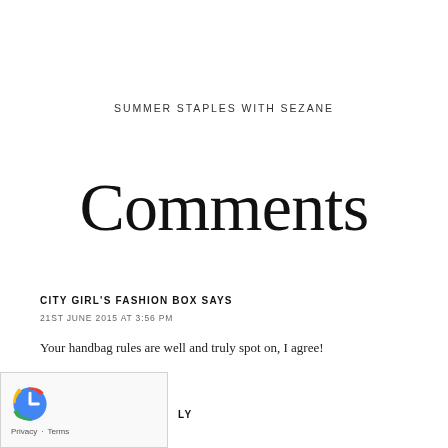SUMMER STAPLES WITH SEZANE
Comments
CITY GIRL'S FASHION BOX SAYS
21ST JUNE 2015 AT 3:56 PM
Your handbag rules are well and truly spot on, I agree!
[Figure (other): reCAPTCHA verification box with Privacy and Terms links]
LY